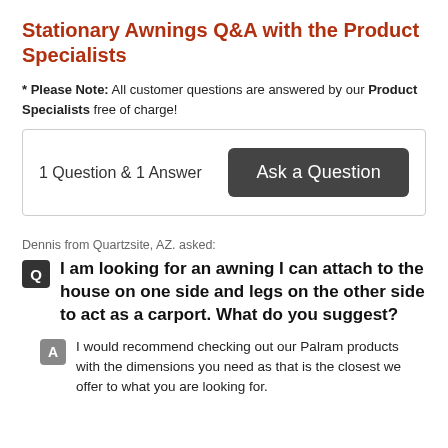Stationary Awnings Q&A with the Product Specialists
* Please Note: All customer questions are answered by our Product Specialists free of charge!
1 Question & 1 Answer  Ask a Question
Dennis from Quartzsite, AZ. asked:
I am looking for an awning I can attach to the house on one side and legs on the other side to act as a carport. What do you suggest?
I would recommend checking out our Palram products with the dimensions you need as that is the closest we offer to what you are looking for.